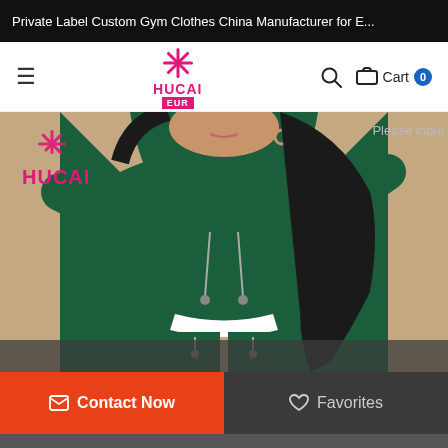Private Label Custom Gym Clothes China Manufacturer for E...
[Figure (logo): HUCAI EUR brand logo with pink snowflake icon]
[Figure (photo): Woman wearing dark green crop hoodie and matching sweatpants, HUCAI brand watermark visible]
Please input
Contact Now
Favorites